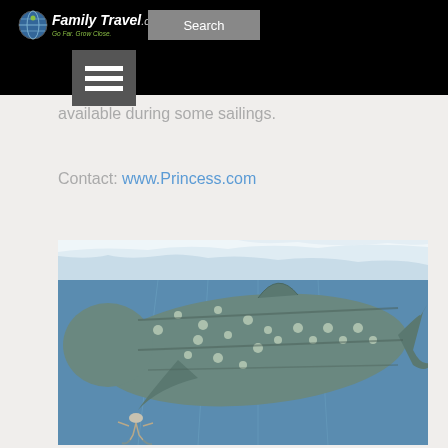[Figure (screenshot): Website header for FamilyTravel.com with black navigation bar containing logo, search button, and hamburger menu icon]
available during some sailings.
Contact: www.Princess.com
[Figure (photo): Underwater photo of a whale shark with white spots and stripes swimming near the surface, with a scuba diver visible below it]